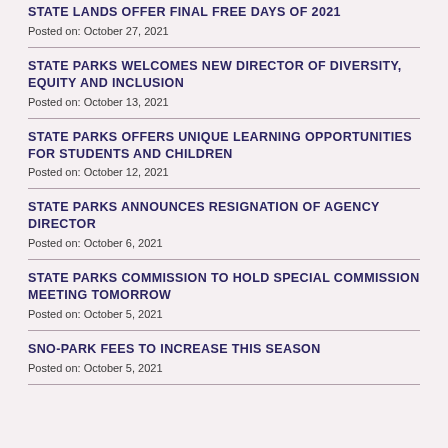STATE LANDS OFFER FINAL FREE DAYS OF 2021
Posted on: October 27, 2021
STATE PARKS WELCOMES NEW DIRECTOR OF DIVERSITY, EQUITY AND INCLUSION
Posted on: October 13, 2021
STATE PARKS OFFERS UNIQUE LEARNING OPPORTUNITIES FOR STUDENTS AND CHILDREN
Posted on: October 12, 2021
STATE PARKS ANNOUNCES RESIGNATION OF AGENCY DIRECTOR
Posted on: October 6, 2021
STATE PARKS COMMISSION TO HOLD SPECIAL COMMISSION MEETING TOMORROW
Posted on: October 5, 2021
SNO-PARK FEES TO INCREASE THIS SEASON
Posted on: October 5, 2021